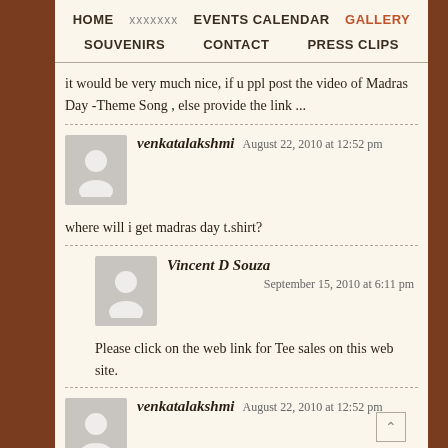HOME | xxxxxxx | EVENTS CALENDAR | GALLERY | SOUVENIRS | CONTACT | PRESS CLIPS
it would be very much nice, if u ppl post the video of Madras Day -Theme Song , else provide the link ...
venkatalakshmi    August 22, 2010 at 12:52 pm
where will i get madras day t.shirt?
Vincent D Souza    September 15, 2010 at 6:11 pm
Please click on the web link for Tee sales on this web site.
venkatalakshmi    August 22, 2010 at 12:52 pm